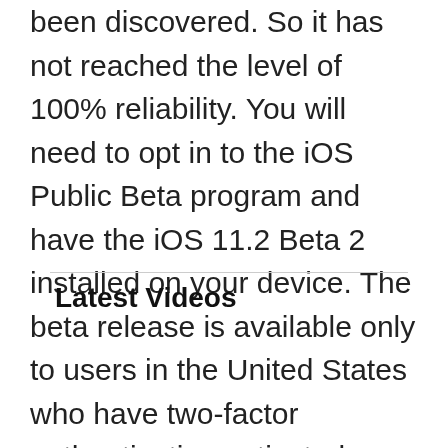been discovered. So it has not reached the level of 100% reliability. You will need to opt in to the iOS Public Beta program and have the iOS 11.2 Beta 2 installed on your device. The beta release is available only to users in the United States who have two-factor authentication activated.
Latest Videos
[Figure (screenshot): Black video player box showing 'Loading ad' text in white, with a gray loading spinner area below]